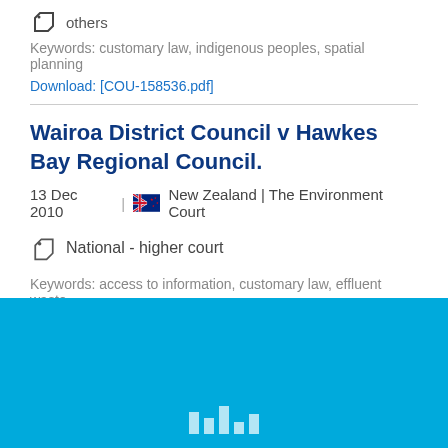[Figure (other): Tag icon with label 'others' (partially visible at top)]
Keywords:  customary law, indigenous peoples, spatial planning
Download: [COU-158536.pdf]
Wairoa District Council v Hawkes Bay Regional Council.
13 Dec 2010  |  New Zealand | The Environment Court
National - higher court
Keywords:  access to information, customary law, effluent waste
Download: [COU-158645.pdf]
Blue footer area with UN/UNEP logo